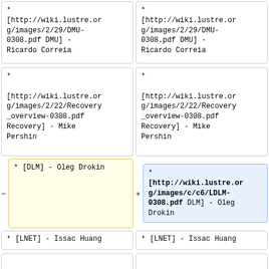* [http://wiki.lustre.org/images/2/29/DMU-0308.pdf DMU] - Ricardo Correia
* [http://wiki.lustre.org/images/2/29/DMU-0308.pdf DMU] - Ricardo Correia
* [http://wiki.lustre.org/images/2/22/Recovery_overview-0308.pdf Recovery] - Mike Pershin
* [http://wiki.lustre.org/images/2/22/Recovery_overview-0308.pdf Recovery] - Mike Pershin
* [DLM] - Oleg Drokin
* [http://wiki.lustre.org/images/c/c6/LDLM-0308.pdf DLM] - Oleg Drokin
* [LNET] - Issac Huang
* [LNET] - Issac Huang
Revision as of 22:23, 26 May 2008